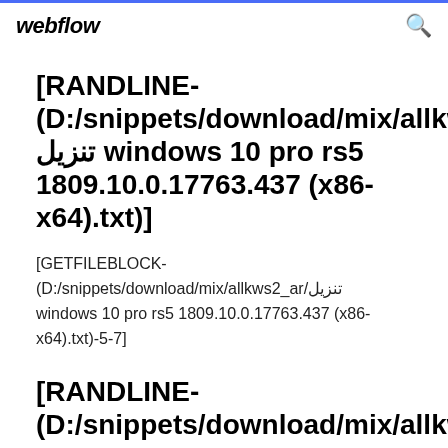webflow
[RANDLINE-(D:/snippets/download/mix/allkws2_ar/تنزيل windows 10 pro rs5 1809.10.0.17763.437 (x86-x64).txt)]
[GETFILEBLOCK-(D:/snippets/download/mix/allkws2_ar/تنزيل windows 10 pro rs5 1809.10.0.17763.437 (x86-x64).txt)-5-7]
[RANDLINE-(D:/snippets/download/mix/allkws2_ar